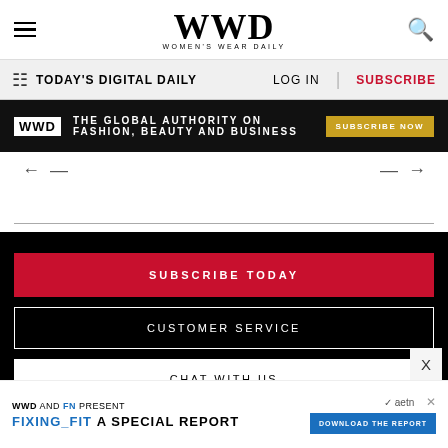WWD WOMEN'S WEAR DAILY
TODAY'S DIGITAL DAILY | LOG IN | SUBSCRIBE
WWD THE GLOBAL AUTHORITY ON FASHION, BEAUTY AND BUSINESS SUBSCRIBE NOW
← →
SUBSCRIBE TODAY
CUSTOMER SERVICE
CHAT WITH US
WWD AND FN PRESENT FIXING_FIT A SPECIAL REPORT DOWNLOAD THE REPORT